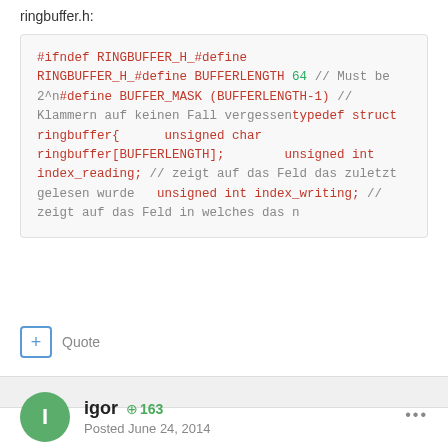ringbuffer.h:
#ifndef RINGBUFFER_H_#define RINGBUFFER_H_#define BUFFERLENGTH 64 // Must be 2^n#define BUFFER_MASK (BUFFERLENGTH-1) // Klammern auf keinen Fall vergessentypedef struct ringbuffer{      unsigned char ringbuffer[BUFFERLENGTH];        unsigned int index_reading; // zeigt auf das Feld das zuletzt gelesen wurde   unsigned int index_writing; // zeigt auf das Feld in welches das n
+ Quote
igor  163
Posted June 24, 2014